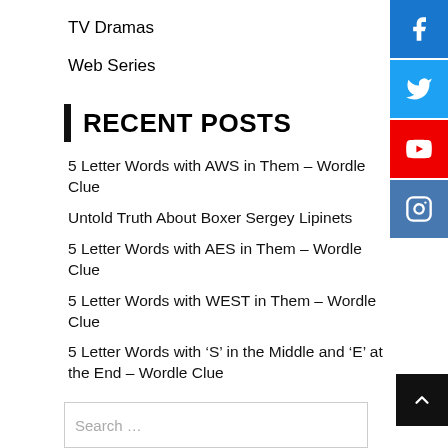TV Dramas
Web Series
RECENT POSTS
5 Letter Words with AWS in Them – Wordle Clue
Untold Truth About Boxer Sergey Lipinets
5 Letter Words with AES in Them – Wordle Clue
5 Letter Words with WEST in Them – Wordle Clue
5 Letter Words with ‘S’ in the Middle and ‘E’ at the End – Wordle Clue